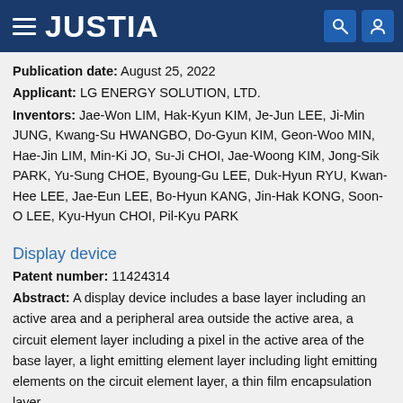JUSTIA
Publication date: August 25, 2022
Applicant: LG ENERGY SOLUTION, LTD.
Inventors: Jae-Won LIM, Hak-Kyun KIM, Je-Jun LEE, Ji-Min JUNG, Kwang-Su HWANGBO, Do-Gyun KIM, Geon-Woo MIN, Hae-Jin LIM, Min-Ki JO, Su-Ji CHOI, Jae-Woong KIM, Jong-Sik PARK, Yu-Sung CHOE, Byoung-Gu LEE, Duk-Hyun RYU, Kwan-Hee LEE, Jae-Eun LEE, Bo-Hyun KANG, Jin-Hak KONG, Soon-O LEE, Kyu-Hyun CHOI, Pil-Kyu PARK
Display device
Patent number: 11424314
Abstract: A display device includes a base layer including an active area and a peripheral area outside the active area, a circuit element layer including a pixel in the active area of the base layer, a light emitting element layer including light emitting elements on the circuit element layer, a thin film encapsulation layer